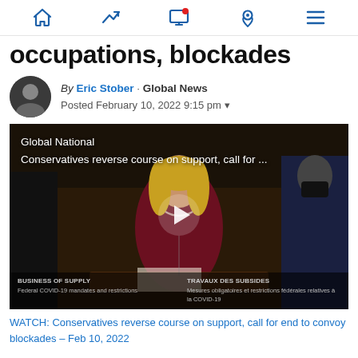Navigation bar with home, trending, notifications, location, menu icons
occupations, blockades
By Eric Stober · Global News
Posted February 10, 2022 9:15 pm
[Figure (screenshot): Video thumbnail showing a woman speaking in the Canadian Parliament chamber. Overlay text reads: Global National / Conservatives reverse course on support, call for ... A play button is visible in the center. Lower captions show BUSINESS OF SUPPLY / Federal COVID-19 mandates and restrictions and TRAVAUX DES SUBSIDES / Mesures obligatoires et restrictions fédérales relatives à la COVID-19.]
WATCH: Conservatives reverse course on support, call for end to convoy blockades – Feb 10, 2022